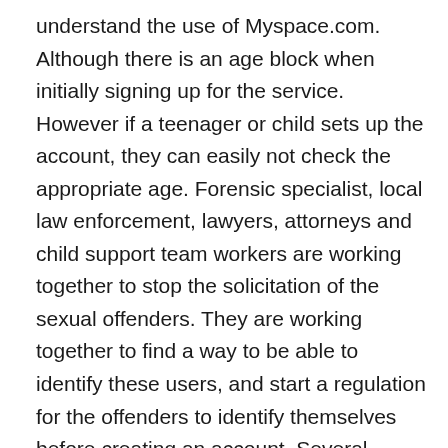understand the use of Myspace.com. Although there is an age block when initially signing up for the service. However if a teenager or child sets up the account, they can easily not check the appropriate age. Forensic specialist, local law enforcement, lawyers, attorneys and child support team workers are working together to stop the solicitation of the sexual offenders. They are working together to find a way to be able to identify these users, and start a regulation for the offenders to identify themselves before creating an account. Several children and teenagers have been caught in using this website to identify themselves, as people who they truly are not. Myspace is helping and also trying to help authorities to stop these offenders, predators and people imposing to be who they are not and to mislead the community. Parents honestly do not know exactly what this website is about